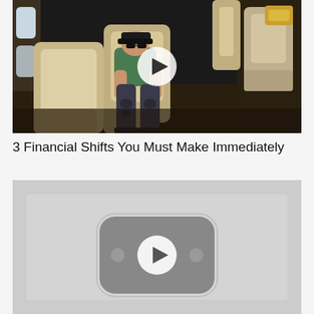[Figure (photo): Video thumbnail showing a man in a green t-shirt and ripped jeans reclining in a luxury private jet seat, with a play button overlay in the center]
3 Financial Shifts You Must Make Immediately
[Figure (photo): Gray video thumbnail showing a YouTube-style play button icon, with a rounded rectangle icon and circular play button in the center]